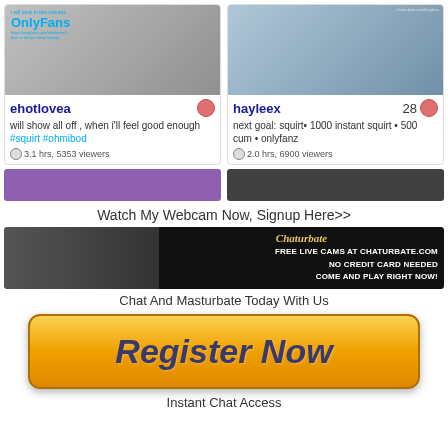[Figure (screenshot): Two webcam stream thumbnails side by side: left shows OnlyFans overlay on blurred room background, right shows a person on a bed with blue/grey background]
ehotlovea
will show all off , when i'll feel good enough #squirt #ohmibod
3.1 hrs, 5353 viewers
hayleex 28
next goal: squirt• 1000 instant squirt • 500 cum • onlyfanz
2.0 hrs, 6900 viewers
[Figure (screenshot): Two partial webcam thumbnails: left purple/pink background, right dark background]
Watch My Webcam Now, Signup Here>>
[Figure (photo): Chaturbate banner ad: woman in black top on left, Chaturbate logo in center, text on right: FREE LIVE CAMS AT CHATURBATE.COM NO CREDIT CARD NEEDED COME AND PLAY RIGHT NOW!]
Chat And Masturbate Today With Us
[Figure (other): Orange gradient Register Now button with dark blue bold italic text]
Instant Chat Access